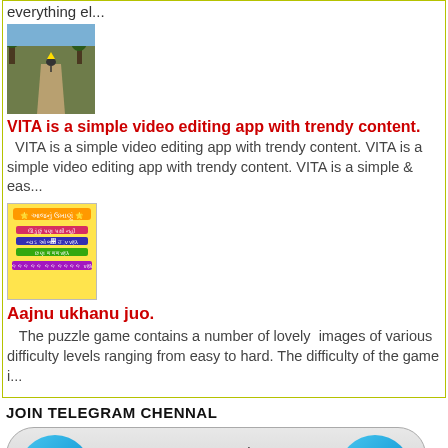everything el...
[Figure (photo): Thumbnail image of a dirt road with trees, an animal visible]
VITA is a simple video editing app with trendy content.
VITA is a simple video editing app with trendy content. VITA is a simple video editing app with trendy content. VITA is a simple & eas...
[Figure (screenshot): Gujarati text puzzle/riddle image with yellow background]
Aajnu ukhanu juo.
The puzzle game contains a number of lovely images of various difficulty levels ranging from easy to hard. The difficulty of the game i...
JOIN TELEGRAM CHENNAL
[Figure (infographic): Telegram channel join banner with two Telegram icons and text 'Join our Teleg']